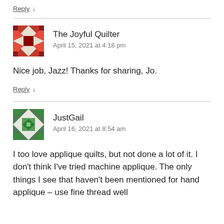Reply ↓
The Joyful Quilter
April 15, 2021 at 4:18 pm
Nice job, Jazz! Thanks for sharing, Jo.
Reply ↓
JustGail
April 16, 2021 at 8:54 am
I too love applique quilts, but not done a lot of it. I don't think I've tried machine applique. The only things I see that haven't been mentioned for hand applique – use fine thread well